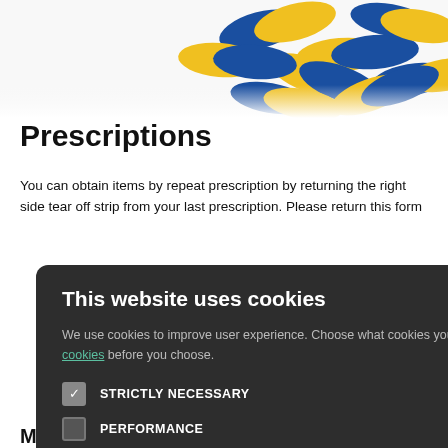[Figure (photo): Blue and yellow capsule pills on white background, viewed from above]
Prescriptions
You can obtain items by repeat prescription by returning the right side tear off strip from your last prescription. Please return this form in the box at
ch prescriptions.
ue to risk of error d.
[Figure (screenshot): Cookie consent modal dialog on dark background. Title: 'This website uses cookies'. Body: 'We use cookies to improve user experience. Choose what cookies you allow us to use. You can read more about our cookies before you choose.' Checkboxes: STRICTLY NECESSARY (checked), PERFORMANCE (unchecked), TARGETING (unchecked), FUNCTIONALITY (unchecked). Buttons: ACCEPT ALL (green), DECLINE ALL (outline). Close X button top right.]
ess for online stmOnline. er for the
on the link at the
sly obtained the person with photo gister for
Medication Reviews